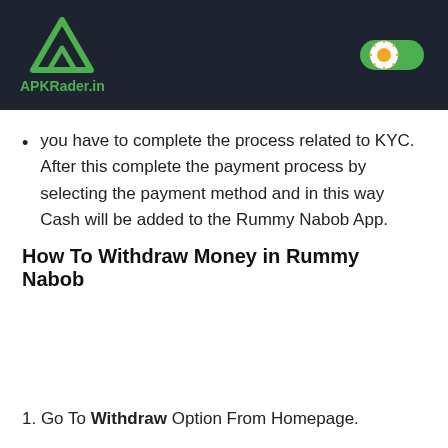APKRader.in
you have to complete the process related to KYC. After this complete the payment process by selecting the payment method and in this way Cash will be added to the Rummy Nabob App.
How To Withdraw Money in Rummy Nabob
1. Go To Withdraw Option From Homepage.